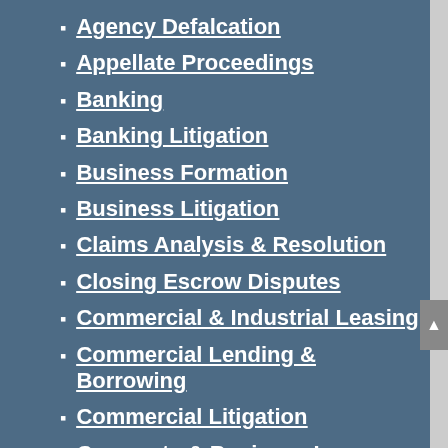Agency Defalcation
Appellate Proceedings
Banking
Banking Litigation
Business Formation
Business Litigation
Claims Analysis & Resolution
Closing Escrow Disputes
Commercial & Industrial Leasing
Commercial Lending & Borrowing
Commercial Litigation
Corporate & Business Law